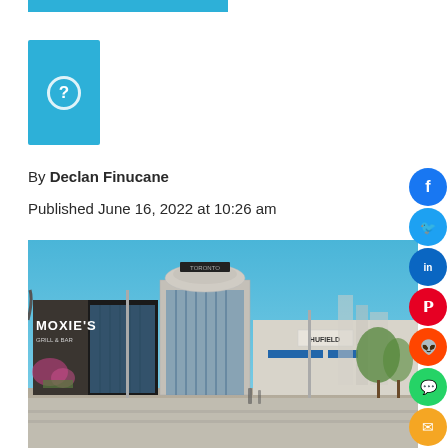[Figure (other): Blue horizontal bar at top]
[Figure (photo): Author placeholder image – blue square with white question mark circle]
By Declan Finucane
Published June 16, 2022 at 10:26 am
[Figure (photo): Exterior photo of a shopping center featuring Moxie's Grill & Bar signage, a curved glass building, and other retail storefronts under a blue sky]
[Figure (infographic): Social share buttons column on right side: Facebook, Twitter, LinkedIn, Pinterest, Reddit, WhatsApp, Email, More]